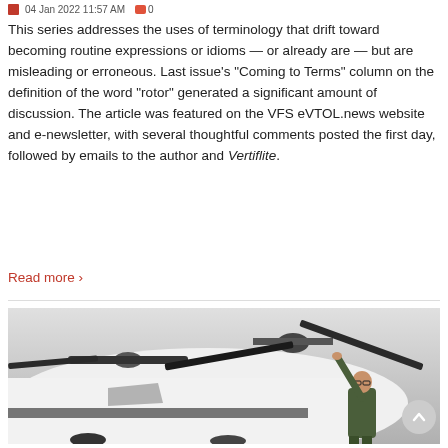04 Jan 2022 11:57 AM  0
This series addresses the uses of terminology that drift toward becoming routine expressions or idioms — or already are — but are misleading or erroneous. Last issue's “Coming to Terms” column on the definition of the word “rotor” generated a significant amount of discussion. The article was featured on the VFS eVTOL.news website and e-newsletter, with several thoughtful comments posted the first day, followed by emails to the author and Vertiflite.
Read more ›
[Figure (photo): A person in a green flight suit reaching up to touch or inspect the rotor blades of a white aircraft (likely a helicopter or eVTOL). The rotorhead and blades are visible against a light grey background.]